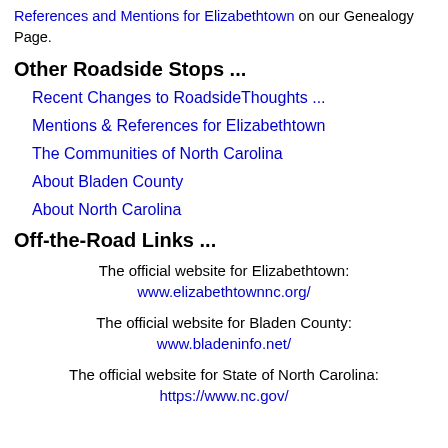References and Mentions for Elizabethtown on our Genealogy Page.
Other Roadside Stops ...
Recent Changes to RoadsideThoughts ...
Mentions & References for Elizabethtown
The Communities of North Carolina
About Bladen County
About North Carolina
Off-the-Road Links ...
The official website for Elizabethtown: www.elizabethtownnc.org/
The official website for Bladen County: www.bladeninfo.net/
The official website for State of North Carolina: https://www.nc.gov/